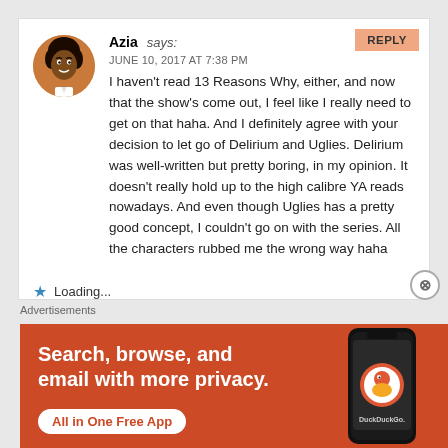REPLY
Azia says:
JUNE 10, 2017 AT 7:38 PM
I haven't read 13 Reasons Why, either, and now that the show's come out, I feel like I really need to get on that haha. And I definitely agree with your decision to let go of Delirium and Uglies. Delirium was well-written but pretty boring, in my opinion. It doesn't really hold up to the high calibre YA reads nowadays. And even though Uglies has a pretty good concept, I couldn't go on with the series. All the characters rubbed me the wrong way haha
Loading...
Advertisements
Search, browse, and email with more privacy. All in One Free App
[Figure (logo): DuckDuckGo app screenshot on phone with DuckDuckGo logo and text]